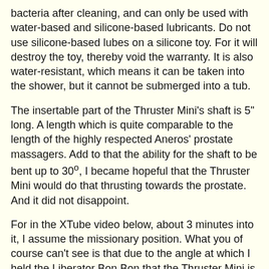bacteria after cleaning, and can only be used with water-based and silicone-based lubricants. Do not use silicone-based lubes on a silicone toy. For it will destroy the toy, thereby void the warranty. It is also water-resistant, which means it can be taken into the shower, but it cannot be submerged into a tub.
The insertable part of the Thruster Mini's shaft is 5" long. A length which is quite comparable to the length of the highly respected Aneros' prostate massagers. Add to that the ability for the shaft to be bent up to 30º, I became hopeful that the Thruster Mini would do that thrusting towards the prostate. And it did not disappoint.
For in the XTube video below, about 3 minutes into it, I assume the missionary position. What you of course can't see is that due to the angle at which I held the Liberator Bon Bon that the Thruster Mini is in, the Thruster Mini did in fact stimulate my prostate. Hence the quivering orgasm seem by the end of the video. So if it was able to be curved to hit my prostate, there is no doubt it can be curved to hit a female's G-spot.